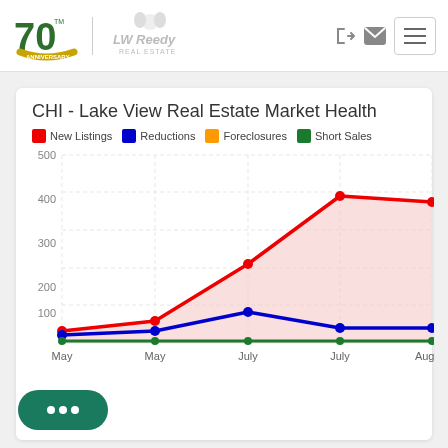LW Reedy Real Estate - 70th Anniversary
CHI - Lake View Real Estate Market Health
[Figure (line-chart): CHI - Lake View Real Estate Market Health]